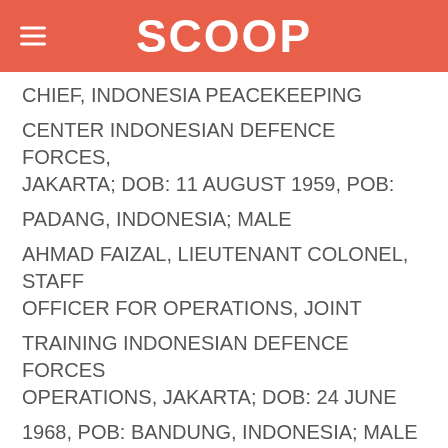SCOOP
CHIEF, INDONESIA PEACEKEEPING
CENTER INDONESIAN DEFENCE FORCES, JAKARTA; DOB: 11 AUGUST 1959, POB:
PADANG, INDONESIA; MALE
AHMAD FAIZAL, LIEUTENANT COLONEL, STAFF OFFICER FOR OPERATIONS, JOINT
TRAINING INDONESIAN DEFENCE FORCES OPERATIONS, JAKARTA; DOB: 24 JUNE
1968, POB: BANDUNG, INDONESIA; MALE
HERMAWAN PRASETYABUDI, MAJOR, OPERATION STAFF OFFICER, 2nd AMPHIBIOUS
MARINES TANK BATTALION, JAKARTA; DOB: 16 JUNE 1973, POB: SLEMAN,